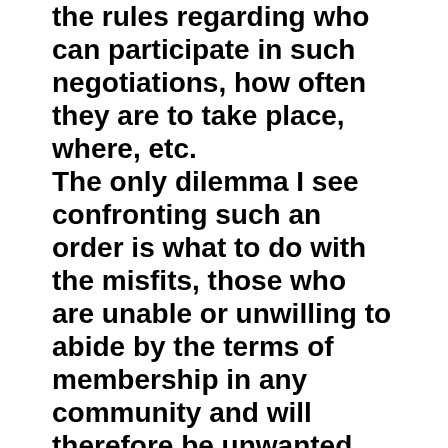the rules regarding who can participate in such negotiations, how often they are to take place, where, etc. The only dilemma I see confronting such an order is what to do with the misfits, those who are unable or unwilling to abide by the terms of membership in any community and will therefore be unwanted by all. We could say that if you don't allow misfits from other communities into your